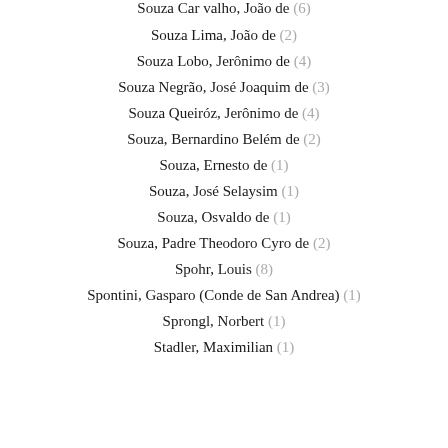Souza Carvalho, João de (6)
Souza Lima, João de (2)
Souza Lobo, Jerônimo de (4)
Souza Negrão, José Joaquim de (3)
Souza Queiróz, Jerônimo de (4)
Souza, Bernardino Belém de (2)
Souza, Ernesto de (1)
Souza, José Selaysim (1)
Souza, Osvaldo de (1)
Souza, Padre Theodoro Cyro de (2)
Spohr, Louis (8)
Spontini, Gasparo (Conde de San Andrea) (1)
Sprongl, Norbert (1)
Stadler, Maximilian (1)